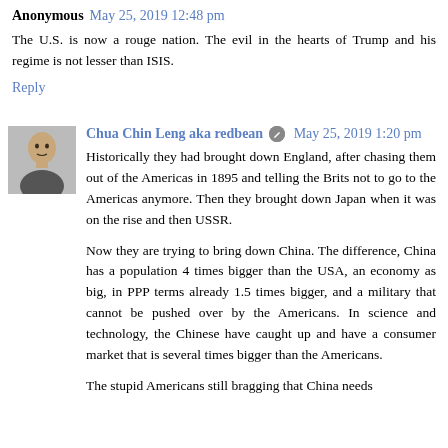Anonymous May 25, 2019 12:48 pm
The U.S. is now a rouge nation. The evil in the hearts of Trump and his regime is not lesser than ISIS.
Reply
Chua Chin Leng aka redbean [edit icon] May 25, 2019 1:20 pm
Historically they had brought down England, after chasing them out of the Americas in 1895 and telling the Brits not to go to the Americas anymore. Then they brought down Japan when it was on the rise and then USSR.
Now they are trying to bring down China. The difference, China has a population 4 times bigger than the USA, an economy as big, in PPP terms already 1.5 times bigger, and a military that cannot be pushed over by the Americans. In science and technology, the Chinese have caught up and have a consumer market that is several times bigger than the Americans.
The stupid Americans still bragging that China needs